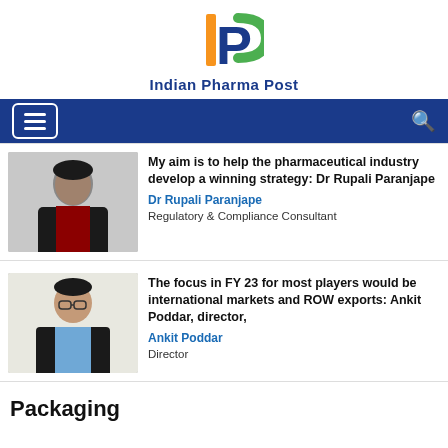[Figure (logo): Indian Pharma Post logo with IP letters in saffron/green/blue colors]
Indian Pharma Post
[Figure (screenshot): Navigation bar with hamburger menu and search icon on dark blue background]
[Figure (photo): Photo of Dr Rupali Paranjape holding a book, wearing black suit]
My aim is to help the pharmaceutical industry develop a winning strategy: Dr Rupali Paranjape
Dr Rupali Paranjape
Regulatory & Compliance Consultant
[Figure (photo): Photo of Ankit Poddar wearing glasses and dark suit]
The focus in FY 23 for most players would be international markets and ROW exports: Ankit Poddar, director,
Ankit Poddar
Director
Packaging